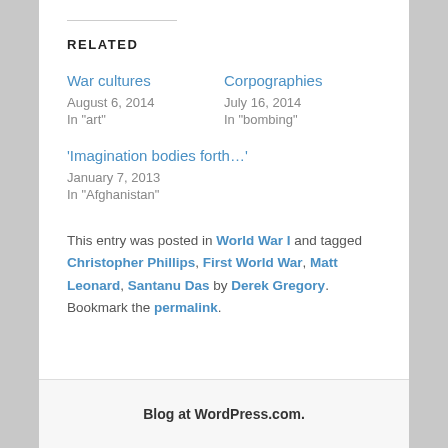RELATED
War cultures
August 6, 2014
In "art"
Corpographies
July 16, 2014
In "bombing"
'Imagination bodies forth…'
January 7, 2013
In "Afghanistan"
This entry was posted in World War I and tagged Christopher Phillips, First World War, Matt Leonard, Santanu Das by Derek Gregory. Bookmark the permalink.
Blog at WordPress.com.